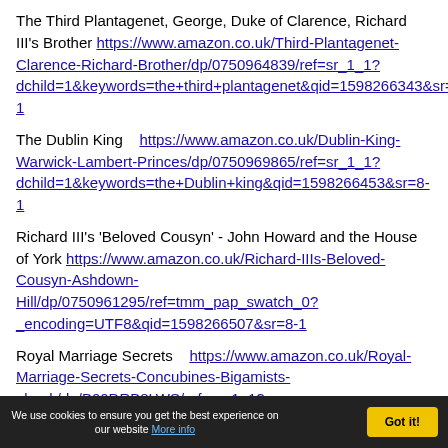The Third Plantagenet, George, Duke of Clarence, Richard III's Brother https://www.amazon.co.uk/Third-Plantagenet-Clarence-Richard-Brother/dp/0750964839/ref=sr_1_1?dchild=1&keywords=the+third+plantagenet&qid=1598266343&sr=8-1
The Dublin King https://www.amazon.co.uk/Dublin-King-Warwick-Lambert-Princes/dp/0750969865/ref=sr_1_1?dchild=1&keywords=the+Dublin+king&qid=1598266453&sr=8-1
Richard III's 'Beloved Cousyn' - John Howard and the House of York https://www.amazon.co.uk/Richard-IIIs-Beloved-Cousyn-Ashdown-Hill/dp/0750961295/ref=tmm_pap_swatch_0?_encoding=UTF8&qid=1598266507&sr=8-1
Royal Marriage Secrets https://www.amazon.co.uk/Royal-Marriage-Secrets-Concubines-Bigamists-ebook/dp/B00DRB8LWS/ref=sr_1_1?dchild=1&keywords=royal+marriage+secrets&qid=1598266624&sr=8-1
We use cookies to ensure you get the best experience on our website More info  Got it!